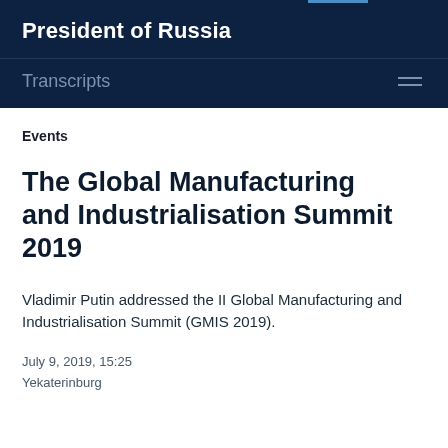President of Russia
Transcripts
Events
The Global Manufacturing and Industrialisation Summit 2019
Vladimir Putin addressed the II Global Manufacturing and Industrialisation Summit (GMIS 2019).
July 9, 2019, 15:25
Yekaterinburg